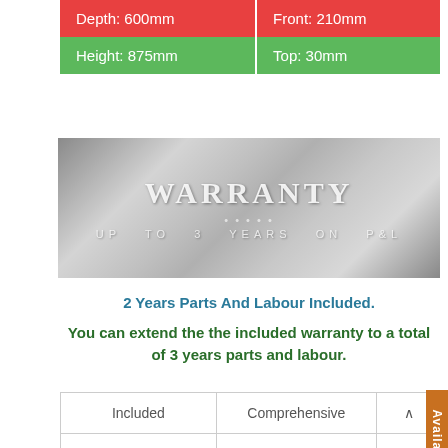| Depth: 600mm | Front: 210mm |
| Height: 875mm | Top: 30mm |
[Figure (illustration): Metallic brushed steel banner with WARRANTY text and 'UP TO 3 YEARS ON P&L' subtitle]
2 Years Parts And Labour Included.
You can extend the the included warranty to a total of 3 years parts and labour.
| Included | Comprehensive |
| --- | --- |
| 2 Years Parts & Labour | 3 Years Parts & Labour |